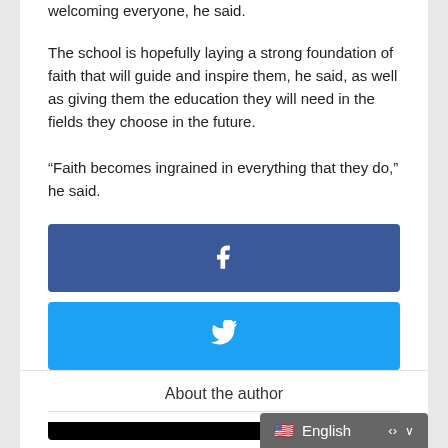welcoming everyone, he said.
The school is hopefully laying a strong foundation of faith that will guide and inspire them, he said, as well as giving them the education they will need in the fields they choose in the future.
“Faith becomes ingrained in everything that they do,” he said.
[Figure (infographic): Three social share buttons: Facebook (dark blue with f icon), Twitter (light blue with bird icon), Email (black with envelope icon)]
About the author
[Figure (screenshot): Language selector showing English with US flag and dropdown chevron, partially visible at bottom right]